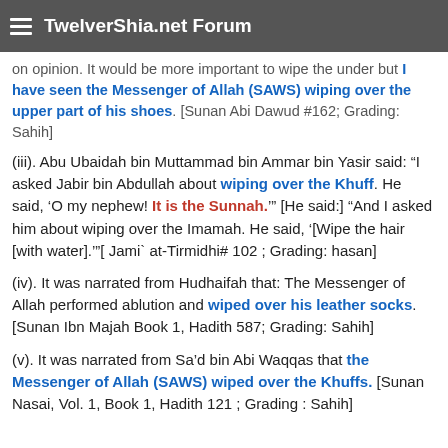TwelverShia.net Forum
on opinion. It would be more important to wipe the under but I have seen the Messenger of Allah (SAWS) wiping over the upper part of his shoes. [Sunan Abi Dawud #162; Grading: Sahih]
(iii). Abu Ubaidah bin Muttammad bin Ammar bin Yasir said: “I asked Jabir bin Abdullah about wiping over the Khuff. He said, ‘O my nephew! It is the Sunnah.’” [He said:] “And I asked him about wiping over the Imamah. He said, ‘[Wipe the hair [with water].’”[ Jami` at-Tirmidhi# 102 ; Grading: hasan]
(iv). It was narrated from Hudhaifah that: The Messenger of Allah performed ablution and wiped over his leather socks. [Sunan Ibn Majah Book 1, Hadith 587; Grading: Sahih]
(v). It was narrated from Sa’d bin Abi Waqqas that the Messenger of Allah (SAWS) wiped over the Khuffs. [Sunan Nasai, Vol. 1, Book 1, Hadith 121 ; Grading : Sahih]